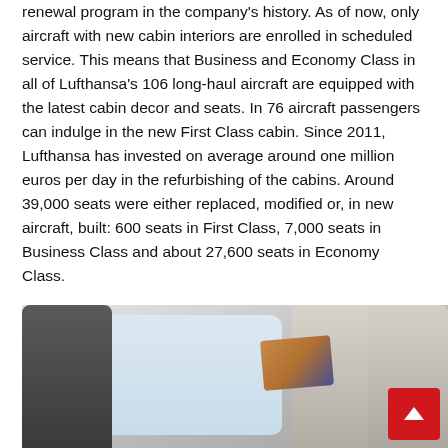renewal program in the company's history. As of now, only aircraft with new cabin interiors are enrolled in scheduled service. This means that Business and Economy Class in all of Lufthansa's 106 long-haul aircraft are equipped with the latest cabin decor and seats. In 76 aircraft passengers can indulge in the new First Class cabin. Since 2011, Lufthansa has invested on average around one million euros per day in the refurbishing of the cabins. Around 39,000 seats were either replaced, modified or, in new aircraft, built: 600 seats in First Class, 7,000 seats in Business Class and about 27,600 seats in Economy Class.
[Figure (photo): Photograph of Lufthansa aircraft cabin interior showing business class seats in grey tones with brown and blue striped pillow, and aircraft windows visible in the background.]